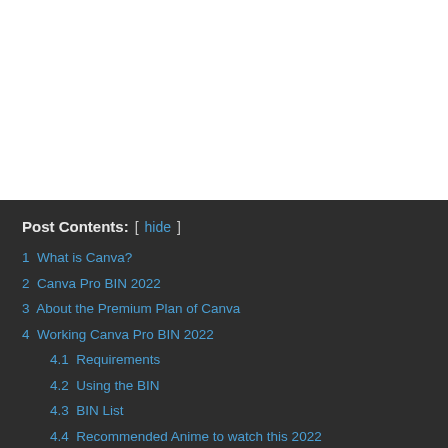Post Contents: [ hide ]
1 What is Canva?
2 Canva Pro BIN 2022
3 About the Premium Plan of Canva
4 Working Canva Pro BIN 2022
4.1 Requirements
4.2 Using the BIN
4.3 BIN List
4.4 Recommended Anime to watch this 2022